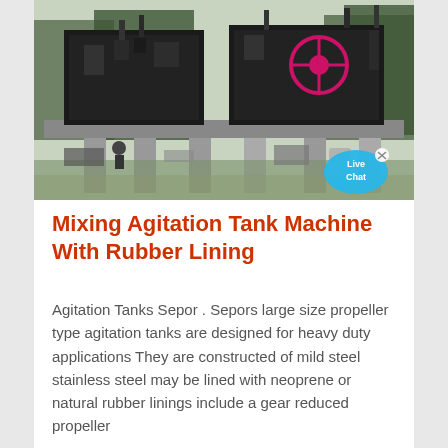[Figure (photo): Outdoor industrial photo of large black heavy-duty agitation tank machines elevated on concrete pillars/supports, with a pink/red circular gear or wheel visible on one unit. A Live Chat button/bubble overlay appears in the bottom-right corner of the image.]
Mixing Agitation Tank Machine With Rubber Lining
Agitation Tanks Sepor . Sepors large size propeller type agitation tanks are designed for heavy duty applications They are constructed of mild steel stainless steel may be lined with neoprene or natural rubber linings include a gear reduced propeller